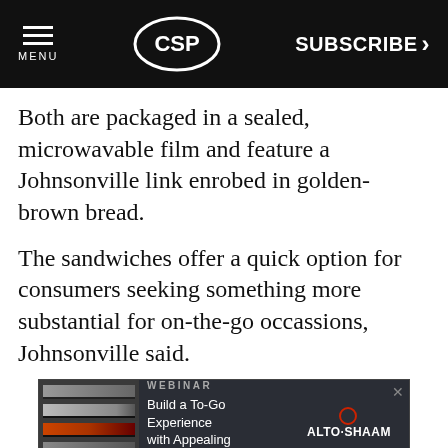MENU | CSP | SUBSCRIBE >
Both are packaged in a sealed, microwavable film and feature a Johnsonville link enrobed in golden-brown bread.
The sandwiches offer a quick option for consumers seeking something more substantial for on-the-go occassions, Johnsonville said.
[Figure (screenshot): Ad banner for Alto-Shaam webinar: 'Build a To-Go Experience with Appealing Displays']
PREMIUM
By using our site you agree to our Privacy Policy. We use cookies on our site. To learn more about the information we collect, how we use it and your choices, visit the cookies section of our Privacy Policy.